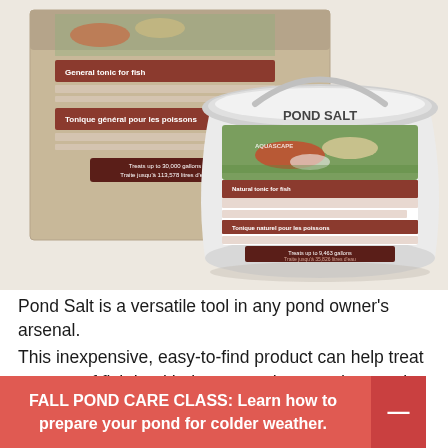[Figure (photo): Photo of API Pond Salt product — a large white plastic bucket with 'POND SALT' label featuring koi fish, alongside a cardboard box packaging of the same product. The bucket shows a label with text about being a natural tonic for fish.]
Pond Salt is a versatile tool in any pond owner’s arsenal.
This inexpensive, easy-to-find product can help treat a range of fish health issues – when used correctly.
FALL POND CARE CLASS: Learn how to prepare your pond for colder weather.